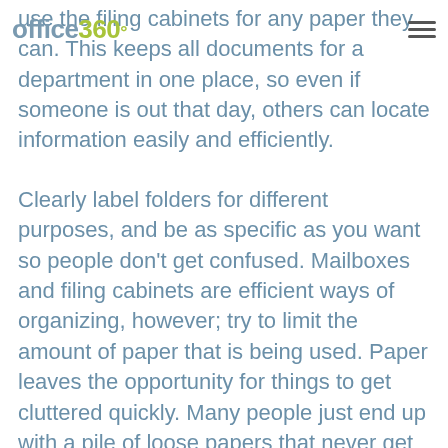office360°
use the filing cabinets for any paper they can. This keeps all documents for a department in one place, so even if someone is out that day, others can locate information easily and efficiently.
Clearly label folders for different purposes, and be as specific as you want so people don't get confused. Mailboxes and filing cabinets are efficient ways of organizing, however; try to limit the amount of paper that is being used. Paper leaves the opportunity for things to get cluttered quickly. Many people just end up with a pile of loose papers that never get